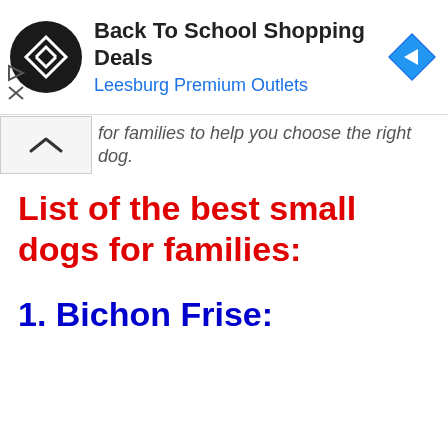[Figure (screenshot): Advertisement banner for Back To School Shopping Deals at Leesburg Premium Outlets, showing a black circular logo with a diamond shape, ad title text, blue subtitle, and a blue diamond navigation arrow icon. Ad controls (play/close) visible on left.]
for families to help you choose the right dog.
List of the best small dogs for families:
1. Bichon Frise: